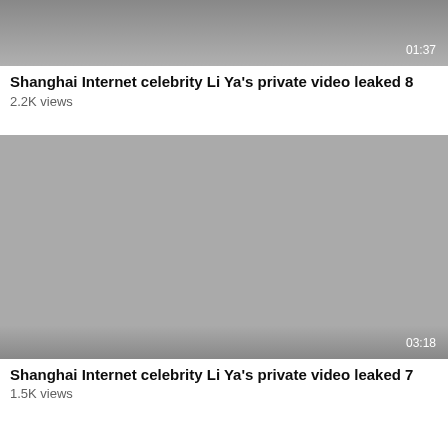[Figure (screenshot): Video thumbnail placeholder - grey gradient rectangle with duration 01:37 in bottom right corner]
Shanghai Internet celebrity Li Ya's private video leaked 8
2.2K views
[Figure (screenshot): Video thumbnail placeholder - grey gradient rectangle with duration 03:18 in bottom right corner]
Shanghai Internet celebrity Li Ya's private video leaked 7
1.5K views